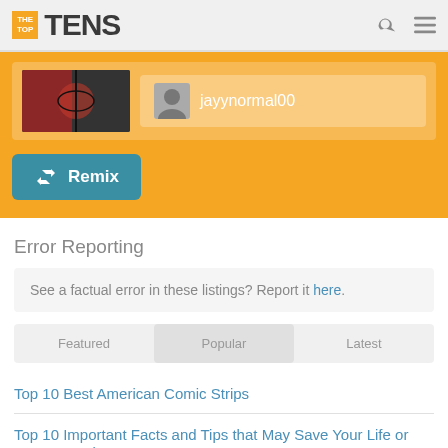THE TOP TENS
[Figure (screenshot): Yellow banner with basketball image thumbnail, user avatar and name 'jayynormal00', and a teal Remix button]
Error Reporting
See a factual error in these listings? Report it here.
Featured | Popular | Latest
Top 10 Best American Comic Strips
Top 10 Important Facts and Tips that May Save Your Life or Someone Else's